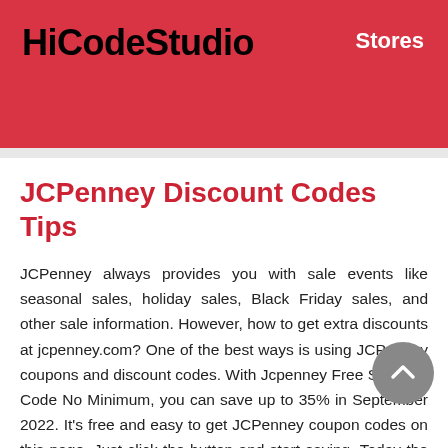HiCodeStudio   Stores
JCPenney Discount Codes Tips
JCPenney always provides you with sale events like seasonal sales, holiday sales, Black Friday sales, and other sale information. However, how to get extra discounts at jcpenney.com? One of the best ways is using JCPenney coupons and discount codes. With Jcpenney Free Shipping Code No Minimum, you can save up to 35% in September 2022. It's free and easy to get JCPenney coupon codes on this page. Just click the button and start saving. Today the best choice is: Receive Discount Code At JCPenney. Besides, JCPenney also has many other ways to get discounts, such as influencer codes, first-order discounts, student discounts, Instagram discounts, and free delivery.